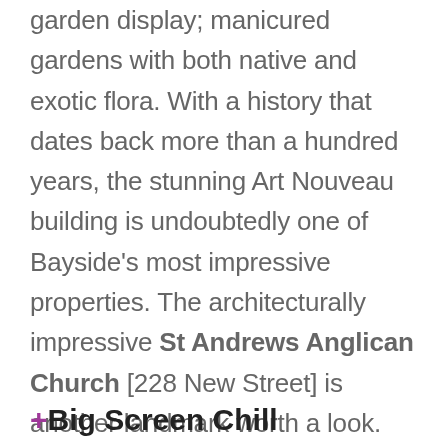garden display; manicured gardens with both native and exotic flora. With a history that dates back more than a hundred years, the stunning Art Nouveau building is undoubtedly one of Bayside's most impressive properties. The architecturally impressive St Andrews Anglican Church [228 New Street] is another landmark worth a look. Besides its jaw-dropping Gothic design, it's also home to the Choir of St Andrew's Church, Victoria's oldest choir — you might have some delightful music to go with your afternoon tour.
+Big Screen Chill